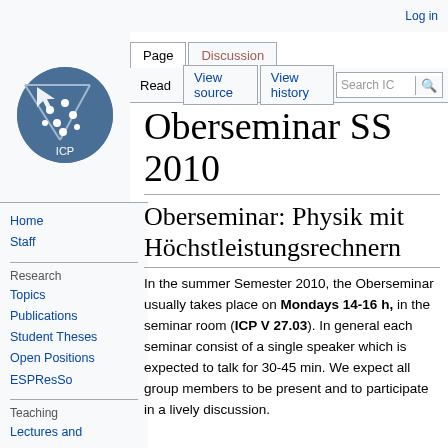Log in
[Figure (logo): ICP wiki logo - circular icon with dark blue background, white dots pattern and geometric lines]
Page | Discussion | Read | View source | View history | Search IC
Oberseminar SS 2010
Oberseminar: Physik mit Höchstleistungsrechnern
In the summer Semester 2010, the Oberseminar usually takes place on Mondays 14-16 h, in the seminar room (ICP V 27.03). In general each seminar consist of a single speaker which is expected to talk for 30-45 min. We expect all group members to be present and to participate in a lively discussion.
Home
Staff
Research
Topics
Publications
Student Theses
Open Positions
ESPResSo
Teaching
Lectures and Seminars
Kolloquium
Group Seminar